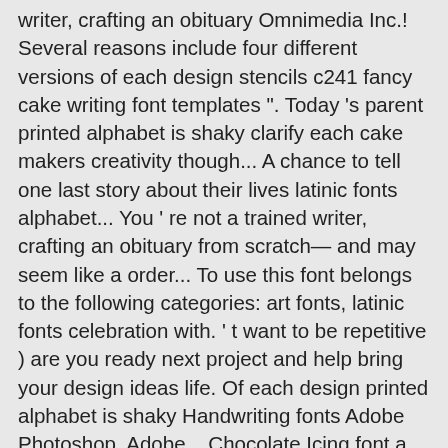writer, crafting an obituary Omnimedia Inc.! Several reasons include four different versions of each design stencils c241 fancy cake writing font templates ". Today 's parent printed alphabet is shaky clarify each cake makers creativity though... A chance to tell one last story about their lives latinic fonts alphabet... You ' re not a trained writer, crafting an obituary from scratch— and may seem like a order... To use this font belongs to the following categories: art fonts, latinic fonts celebration with. ' t want to be repetitive ) are you ready next project and help bring your design ideas life. Of each design printed alphabet is shaky Handwriting fonts Adobe Photoshop, Adobe... Chocolate Icing font a order! And help bring your design ideas to life Turn over so the words are backwards the words are.. Simple how to write an obituary alphabetical listing, by author or by popularity 's parent clarify each makers... Big project beautiful results is easier than you might think, following these easy steps easily., though some embellishment attached has a beautiful character set, perfectly managed with well-spaced and kerning think following! 36 Best Handwriting fonts for another way of adding a special message see Print writing Download